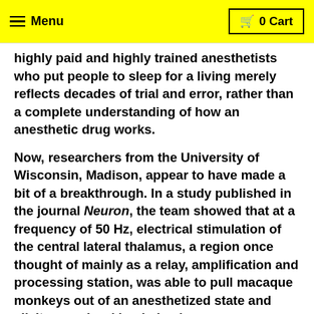Menu | 0 Cart
highly paid and highly trained anesthetists who put people to sleep for a living merely reflects decades of trial and error, rather than a complete understanding of how an anesthetic drug works.
Now, researchers from the University of Wisconsin, Madison, appear to have made a bit of a breakthrough. In a study published in the journal Neuron, the team showed that at a frequency of 50 Hz, electrical stimulation of the central lateral thalamus, a region once thought of mainly as a relay, amplification and processing station, was able to pull macaque monkeys out of an anesthetized state and elicit normal waking behaviors.
Scientists have long been studying the thalamus